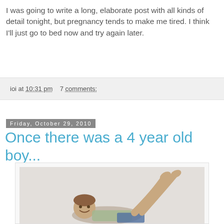I was going to write a long, elaborate post with all kinds of detail tonight, but pregnancy tends to make me tired. I think I'll just go to bed now and try again later.
ioi at 10:31 pm   7 comments:
Friday, October 29, 2010
Once there was a 4 year old boy...
[Figure (photo): A young boy approximately 4 years old lying on his stomach smiling at the camera with his legs raised up behind him, wearing a plaid shirt and jeans, photographed against a white background.]